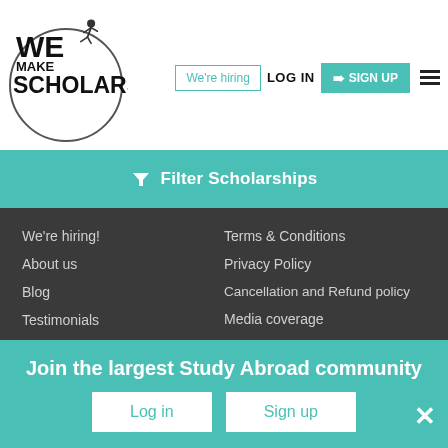We Make Scholars — We're hiring | LOG IN | SIGN UP
Filter Scholarships
We're hiring!
About us
Blog
Testimonials
FAQs
Contact us
Terms & Conditions
Privacy Policy
Cancellation and Refund policy
Media coverage
Sitemap
Client's Login
Publish a scholarship
Publish an internship
Join the largest Study Abroad community
Log in  Sign up